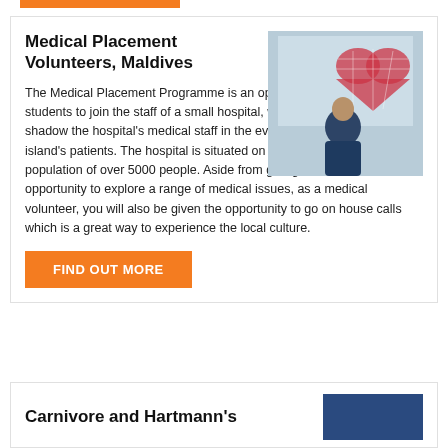Medical Placement Volunteers, Maldives
[Figure (photo): Person in blue scrubs standing in front of a window with a red heart decoration]
The Medical Placement Programme is an opportunity for young medical students to join the staff of a small hospital, where they are able to shadow the hospital's medical staff in the everyday treatment of the island's patients. The hospital is situated on Naifaru Island which has a population of over 5000 people. Aside from giving volunteers the opportunity to explore a range of medical issues, as a medical volunteer, you will also be given the opportunity to go on house calls which is a great way to experience the local culture.
FIND OUT MORE
Carnivore and Hartmann's
[Figure (photo): Blue colored image placeholder]